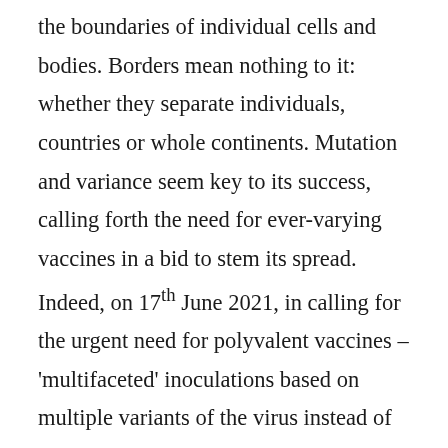the boundaries of individual cells and bodies. Borders mean nothing to it: whether they separate individuals, countries or whole continents. Mutation and variance seem key to its success, calling forth the need for ever-varying vaccines in a bid to stem its spread. Indeed, on 17th June 2021, in calling for the urgent need for polyvalent vaccines – 'multifaceted' inoculations based on multiple variants of the virus instead of just one – Chris Whitty unwittingly echoed William Hynes' definition of the trickster as 'fundamentally ambiguous, anomalous and polyvalent. (Emphasis mine).'[4] It seems that in the case